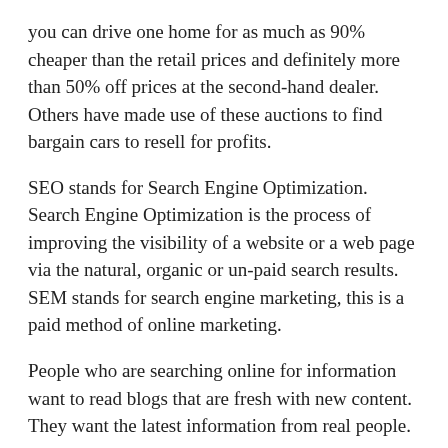you can drive one home for as much as 90% cheaper than the retail prices and definitely more than 50% off prices at the second-hand dealer. Others have made use of these auctions to find bargain cars to resell for profits.
SEO stands for Search Engine Optimization. Search Engine Optimization is the process of improving the visibility of a website or a web page via the natural, organic or un-paid search results. SEM stands for search engine marketing, this is a paid method of online marketing.
People who are searching online for information want to read blogs that are fresh with new content. They want the latest information from real people.
…Because if putting food on the table and paying your bills depends on making money online, you'll have to focus on generating traffic and converting that traffic, most likely. So, the